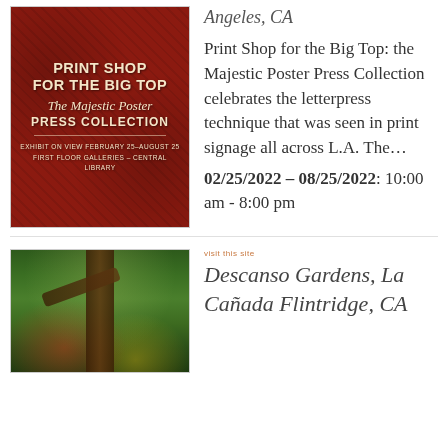[Figure (illustration): Promotional poster for 'Print Shop for the Big Top: The Majestic Poster Press Collection' exhibit on view February 25–August 25, First Floor Galleries – Central Library. Dark red/burgundy background with vintage letterpress style typography in cream/tan colors.]
Angeles, CA
Print Shop for the Big Top: the Majestic Poster Press Collection celebrates the letterpress technique that was seen in print signage all across L.A. The…
02/25/2022 – 08/25/2022: 10:00 am - 8:00 pm
[Figure (photo): Outdoor garden photograph showing a large oak tree with colorful (red/orange) decorative elements or flowers visible at the base. Lush green foliage surrounds the scene.]
visit this site
Descanso Gardens, La Cañada Flintridge, CA